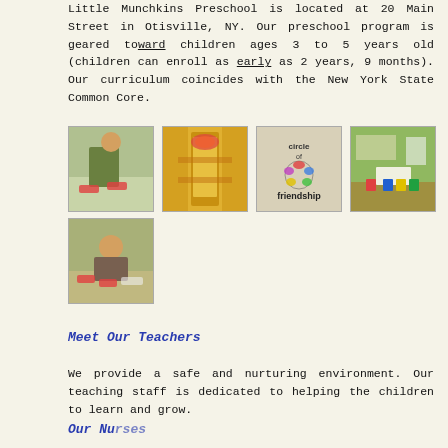Little Munchkins Preschool is located at 20 Main Street in Otisville, NY. Our preschool program is geared toward children ages 3 to 5 years old (children can enroll as early as 2 years, 9 months). Our curriculum coincides with the New York State Common Core.
[Figure (photo): Child doing art activity at a table with red shapes]
[Figure (photo): Yellow hallway/doorway with a rainbow sign]
[Figure (photo): Wall decoration reading circle of friendship with colorful design]
[Figure (photo): Classroom with small tables and colorful chairs]
[Figure (photo): Child at table with red art pieces and plates]
Meet Our Teachers
We provide a safe and nurturing environment. Our teaching staff is dedicated to helping the children to learn and grow.
Our Nurses